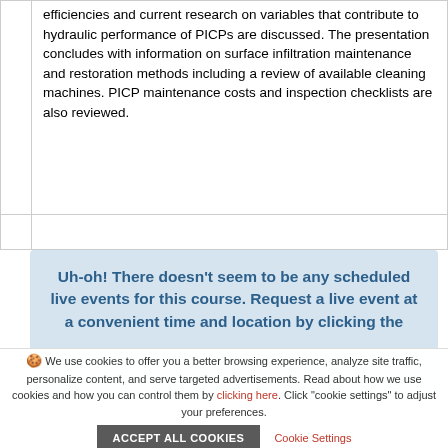efficiencies and current research on variables that contribute to hydraulic performance of PICPs are discussed. The presentation concludes with information on surface infiltration maintenance and restoration methods including a review of available cleaning machines. PICP maintenance costs and inspection checklists are also reviewed.
Uh-oh! There doesn't seem to be any scheduled live events for this course. Request a live event at a convenient time and location by clicking the
🍪 We use cookies to offer you a better browsing experience, analyze site traffic, personalize content, and serve targeted advertisements. Read about how we use cookies and how you can control them by clicking here. Click "cookie settings" to adjust your preferences.
ACCEPT ALL COOKIES
Cookie Settings